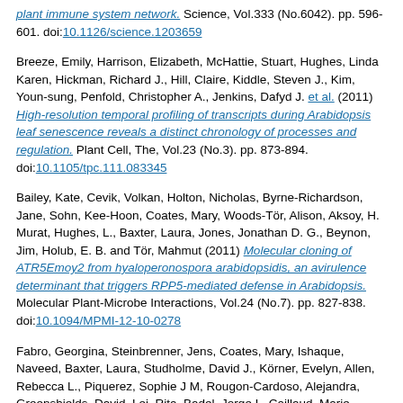plant immune system network. Science, Vol.333 (No.6042). pp. 596-601. doi:10.1126/science.1203659
Breeze, Emily, Harrison, Elizabeth, McHattie, Stuart, Hughes, Linda Karen, Hickman, Richard J., Hill, Claire, Kiddle, Steven J., Kim, Youn-sung, Penfold, Christopher A., Jenkins, Dafyd J. et al. (2011) High-resolution temporal profiling of transcripts during Arabidopsis leaf senescence reveals a distinct chronology of processes and regulation. Plant Cell, The, Vol.23 (No.3). pp. 873-894. doi:10.1105/tpc.111.083345
Bailey, Kate, Cevik, Volkan, Holton, Nicholas, Byrne-Richardson, Jane, Sohn, Kee-Hoon, Coates, Mary, Woods-Tör, Alison, Aksoy, H. Murat, Hughes, L., Baxter, Laura, Jones, Jonathan D. G., Beynon, Jim, Holub, E. B. and Tör, Mahmut (2011) Molecular cloning of ATR5Emoy2 from hyaloperonospora arabidopsidis, an avirulence determinant that triggers RPP5-mediated defense in Arabidopsis. Molecular Plant-Microbe Interactions, Vol.24 (No.7). pp. 827-838. doi:10.1094/MPMI-12-10-0278
Fabro, Georgina, Steinbrenner, Jens, Coates, Mary, Ishaque, Naveed, Baxter, Laura, Studholme, David J., Körner, Evelyn, Allen, Rebecca L., Piquerez, Sophie J M, Rougon-Cardoso, Alejandra, Greenshields, David, Lei, Rita, Badel, Jorge L, Caillaud, Marie-Cecile, Sohn, Kee-Hoon, Van den Ackerveken, Guido, Parker, Jane E, Beynon, Jim and Jones, Jonathan D. G. (2011) Multiple candidate effectors from the oomycete pathogen